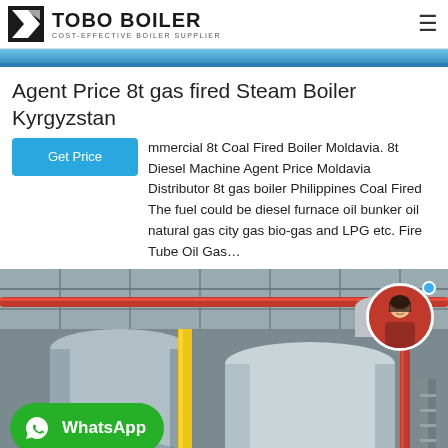TOBO BOILER — COST-EFFECTIVE BOILER SUPPLIER
[Figure (photo): Blue industrial banner strip at top of page]
Agent Price 8t gas fired Steam Boiler Kyrgyzstan
Commercial 8t Coal Fired Boiler Moldavia. 8t Diesel Machine Agent Price Moldavia Distributor 8t gas boiler Philippines Coal Fired The fuel could be diesel furnace oil bunker oil natural gas city gas bio-gas and LPG etc. Fire Tube Oil Gas…
[Figure (photo): Industrial boiler room interior showing large cylindrical boilers, pipes in orange and red, yellow gas lines, blue motor unit, metal ductwork. WhatsApp green button overlay bottom-left. Female avatar circle top-right.]